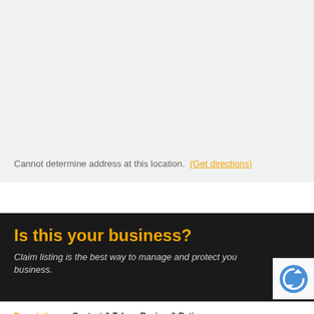[Figure (other): Map area showing a light gray background, no map tiles loaded]
Cannot determine address at this location. (Get directions)
Is this your business?
Claim listing is the best way to manage and protect your business.
[Figure (logo): reCAPTCHA logo badge in bottom right corner]
Description  Contact & Tab  Review & Rating